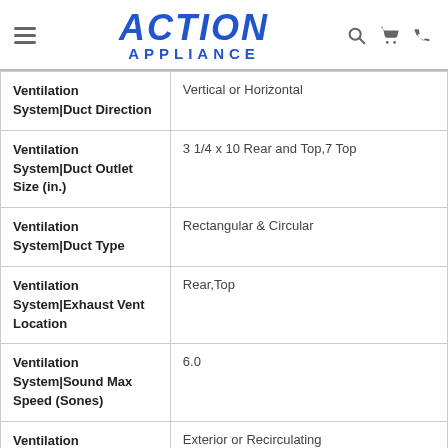ACTION APPLIANCE
| Attribute | Value |
| --- | --- |
| Ventilation System|Duct Direction | Vertical or Horizontal |
| Ventilation System|Duct Outlet Size (in.) | 3 1/4 x 10 Rear and Top,7 Top |
| Ventilation System|Duct Type | Rectangular & Circular |
| Ventilation System|Exhaust Vent Location | Rear,Top |
| Ventilation System|Sound Max Speed (Sones) | 6.0 |
| Ventilation System|Venting | Exterior or Recirculating |